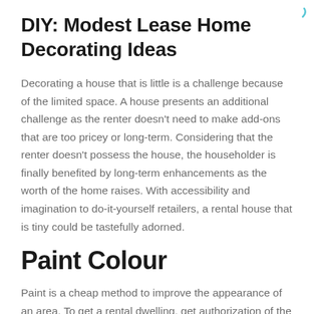DIY: Modest Lease Home Decorating Ideas
Decorating a house that is little is a challenge because of the limited space. A house presents an additional challenge as the renter doesn't need to make add-ons that are too pricey or long-term. Considering that the renter doesn't possess the house, the householder is finally benefited by long-term enhancements as the worth of the home raises. With accessibility and imagination to do-it-yourself retailers, a rental house that is tiny could be tastefully adorned.
Paint Colour
Paint is a cheap method to improve the appearance of an area. To get a rental dwelling, get authorization of the the master before painting the walls any nontraditional colours, like black or reddish. Any colour is allowed by